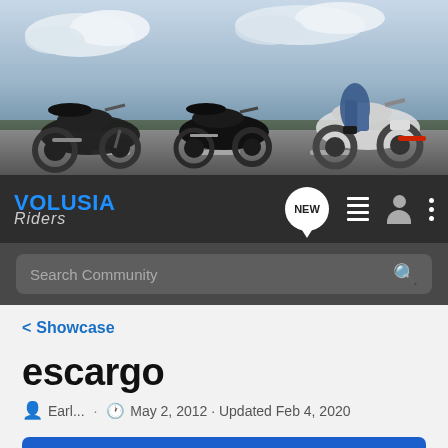[Figure (photo): Hero banner showing three motorcycles on a road with cloudy sky background]
[Figure (logo): Volusia Riders logo in blue and grey on dark navigation bar]
Search Community
< Showcase
escargo
Earl... · May 2, 2012 · Updated Feb 4, 2020
+ Follow
General Information